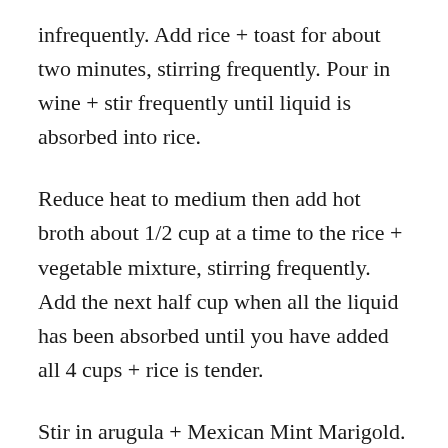infrequently. Add rice + toast for about two minutes, stirring frequently. Pour in wine + stir frequently until liquid is absorbed into rice.
Reduce heat to medium then add hot broth about 1/2 cup at a time to the rice + vegetable mixture, stirring frequently. Add the next half cup when all the liquid has been absorbed until you have added all 4 cups + rice is tender.
Stir in arugula + Mexican Mint Marigold. Allow to stand 5 minutes before serving on a bed of arugula leaves.
4 main course servings.